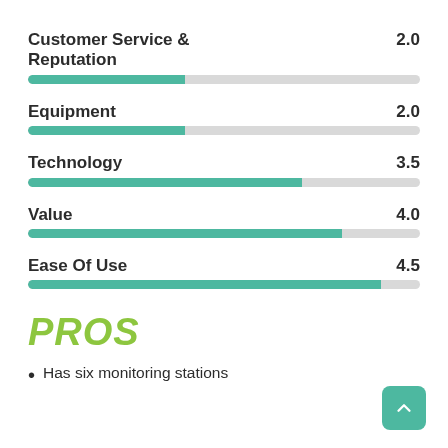[Figure (bar-chart): Ratings]
PROS
Has six monitoring stations